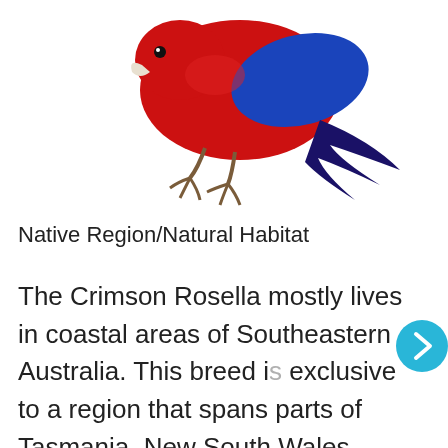[Figure (photo): A Crimson Rosella parrot shown from the back/side, with vivid red and blue plumage, perched or walking on a white background. The bird's feet and tail are visible.]
Native Region/Natural Habitat
The Crimson Rosella mostly lives in coastal areas of Southeastern Australia. This breed is exclusive to a region that spans parts of Tasmania, New South Wales, Victoria, and Queensland. They live in rainforests, woodland edges, Eucalyptus forests, and several other habitats. These birds can also be spotted in gardens and cultivated areas close to cities